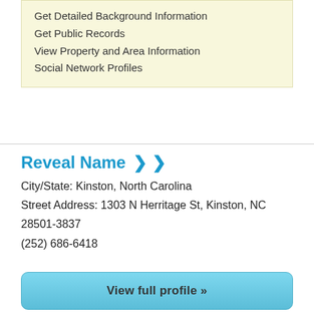Get Detailed Background Information
Get Public Records
View Property and Area Information
Social Network Profiles
Reveal Name
City/State: Kinston, North Carolina
Street Address: 1303 N Herritage St, Kinston, NC 28501-3837
(252) 686-6418
View full profile »
Other information may be available
Email and Other Phone Lookup
Get Detailed Background Information
Get Public Records
View Property and Area Information
Social Network Profiles